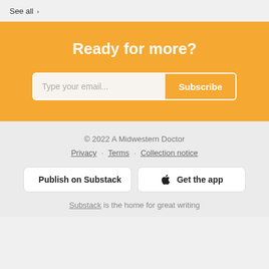See all ›
Ready for more?
Type your email... Subscribe
© 2022 A Midwestern Doctor
Privacy · Terms · Collection notice
Publish on Substack
Get the app
Substack is the home for great writing